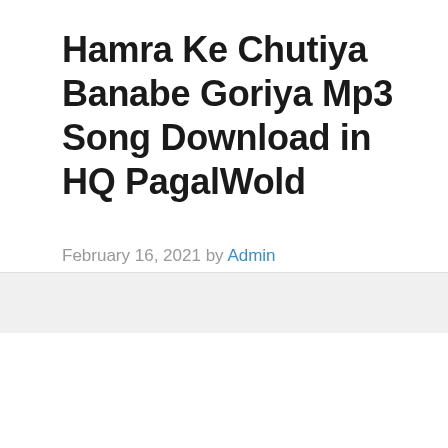Hamra Ke Chutiya Banabe Goriya Mp3 Song Download in HQ PagalWold
February 16, 2021 by Admin